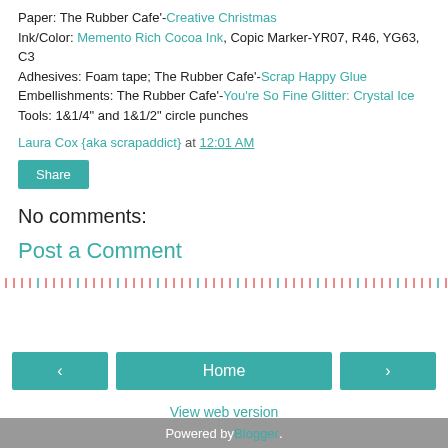Paper: The Rubber Cafe'-Creative Christmas
Ink/Color: Memento Rich Cocoa Ink, Copic Marker-YR07, R46, YG63, C3
Adhesives: Foam tape; The Rubber Cafe'-Scrap Happy Glue
Embellishments: The Rubber Cafe'-You're So Fine Glitter: Crystal Ice
Tools: 1&1/4" and 1&1/2" circle punches
Laura Cox {aka scrapaddict} at 12:01 AM
Share
No comments:
Post a Comment
Home
View web version
Powered by Blogger.